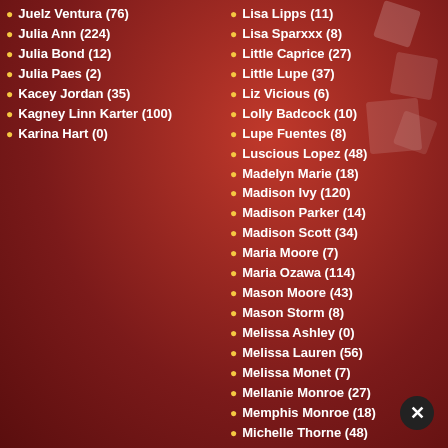Juelz Ventura (76)
Julia Ann (224)
Julia Bond (12)
Julia Paes (2)
Kacey Jordan (35)
Kagney Linn Karter (100)
Karina Hart (0)
Lisa Lipps (11)
Lisa Sparxxx (8)
Little Caprice (27)
Little Lupe (37)
Liz Vicious (6)
Lolly Badcock (10)
Lupe Fuentes (8)
Luscious Lopez (48)
Madelyn Marie (18)
Madison Ivy (120)
Madison Parker (14)
Madison Scott (34)
Maria Moore (7)
Maria Ozawa (114)
Mason Moore (43)
Mason Storm (8)
Melissa Ashley (0)
Melissa Lauren (56)
Melissa Monet (7)
Mellanie Monroe (27)
Memphis Monroe (18)
Michelle Thorne (48)